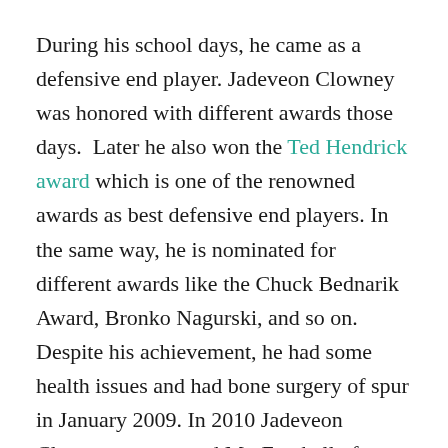During his school days, he came as a defensive end player. Jadeveon Clowney was honored with different awards those days.  Later he also won the Ted Hendrick award which is one of the renowned awards as best defensive end players. In the same way, he is nominated for different awards like the Chuck Bednarik Award, Bronko Nagurski, and so on.  Despite his achievement, he had some health issues and had bone surgery of spur in January 2009. In 2010 Jadeveon Clowney was named Mr. Football of South Carolina.
Then after, in 2013 he played a match with Michigan Wolverines and got victory over them.